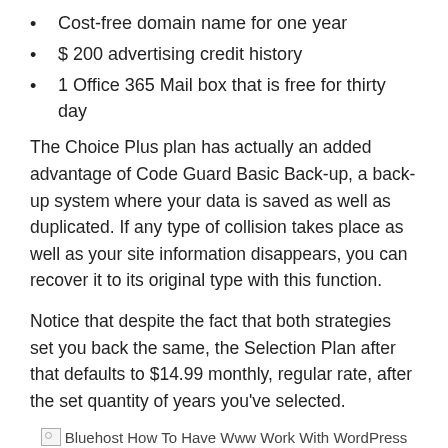Cost-free domain name for one year
$ 200 advertising credit history
1 Office 365 Mail box that is free for thirty day
The Choice Plus plan has actually an added advantage of Code Guard Basic Back-up, a back-up system where your data is saved as well as duplicated. If any type of collision takes place as well as your site information disappears, you can recover it to its original type with this function.
Notice that despite the fact that both strategies set you back the same, the Selection Plan after that defaults to $14.99 monthly, regular rate, after the set quantity of years you've selected.
[Figure (photo): Broken image placeholder with alt text: Bluehost How To Have Www Work With WordPress]
Bluehost How To Have Www Work With WordPress